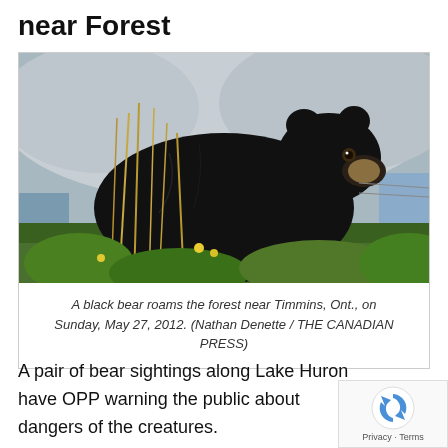near Forest
[Figure (photo): A black bear standing in tall grass and wildflowers near a rocky shoreline, photographed near Timmins, Ontario.]
A black bear roams the forest near Timmins, Ont., on Sunday, May 27, 2012. (Nathan Denette / THE CANADIAN PRESS)
A pair of bear sightings along Lake Huron have OPP warning the public about dangers of the creatures.